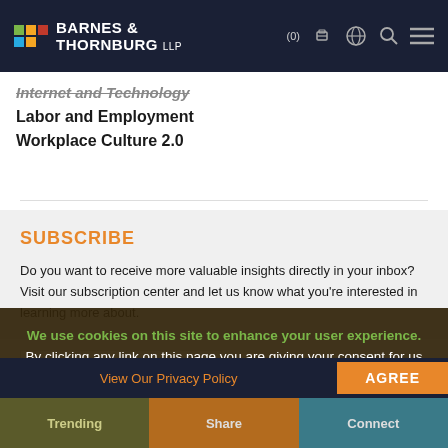Barnes & Thornburg LLP
Internet and Technology
Labor and Employment
Workplace Culture 2.0
SUBSCRIBE
Do you want to receive more valuable insights directly in your inbox? Visit our subscription center and let us know what you're interested in learning more about.
We use cookies on this site to enhance your user experience. By clicking any link on this page you are giving your consent for us to use cookies.
View Our Privacy Policy
AGREE
Trending | Share | Connect